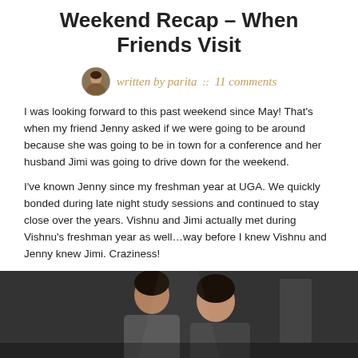Weekend Recap – When Friends Visit
written by parita :: 11 comments
I was looking forward to this past weekend since May!  That's when my friend Jenny asked if we were going to be around because she was going to be in town for a conference and her husband Jimi was going to drive down for the weekend.
I've known Jenny since my freshman year at UGA.  We quickly bonded during late night study sessions and continued to stay close over the years.  Vishnu and Jimi actually met during Vishnu's freshman year as well…way before I knew Vishnu and Jenny knew Jimi.  Craziness!
[Figure (photo): Photo of two women posing together indoors, dark background]